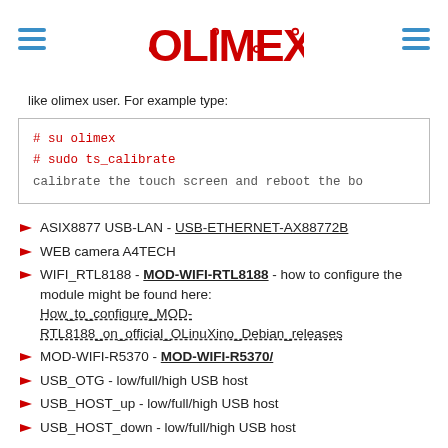OLIMEX logo with hamburger menu icons
like olimex user. For example type:
# su olimex
# sudo ts_calibrate
calibrate the touch screen and reboot the bo
ASIX8877 USB-LAN - USB-ETHERNET-AX88772B
WEB camera A4TECH
WIFI_RTL8188 - MOD-WIFI-RTL8188 - how to configure the module might be found here: How_to_configure_MOD-RTL8188_on_official_OLinuXino_Debian_releases
MOD-WIFI-R5370 - MOD-WIFI-R5370/
USB_OTG - low/full/high USB host
USB_HOST_up - low/full/high USB host
USB_HOST_down - low/full/high USB host